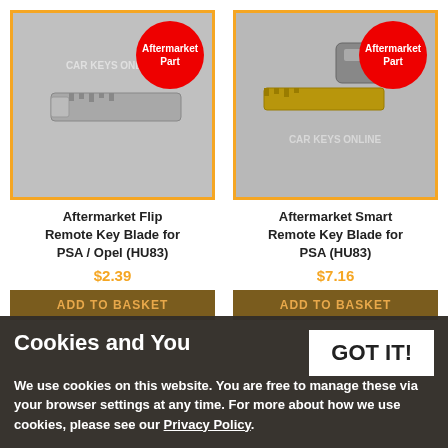[Figure (photo): Aftermarket Flip Remote Key Blade for PSA/Opel (HU83) - silver key blade on grey background with orange border and red 'Aftermarket Part' badge]
[Figure (photo): Aftermarket Smart Remote Key Blade for PSA (HU83) - golden/brass key blade on grey background with orange border and red 'Aftermarket Part' badge]
Aftermarket Flip Remote Key Blade for PSA / Opel (HU83)
Aftermarket Smart Remote Key Blade for PSA (HU83)
$2.39
$7.16
ADD TO BASKET
ADD TO BASKET
Cookies and You
We use cookies on this website. You are free to manage these via your browser settings at any time. For more about how we use cookies, please see our Privacy Policy.
GOT IT!